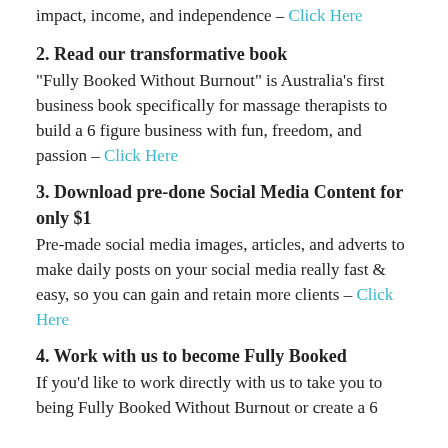impact, income, and independence – Click Here
2. Read our transformative book
"Fully Booked Without Burnout" is Australia's first business book specifically for massage therapists to build a 6 figure business with fun, freedom, and passion – Click Here
3. Download pre-done Social Media Content for only $1
Pre-made social media images, articles, and adverts to make daily posts on your social media really fast & easy, so you can gain and retain more clients – Click Here
4. Work with us to become Fully Booked
If you'd like to work directly with us to take you to being Fully Booked Without Burnout or create a 6